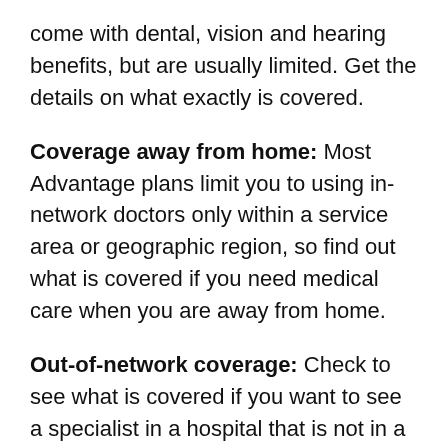come with dental, vision and hearing benefits, but are usually limited. Get the details on what exactly is covered.
Coverage away from home: Most Advantage plans limit you to using in-network doctors only within a service area or geographic region, so find out what is covered if you need medical care when you are away from home.
Out-of-network coverage: Check to see what is covered if you want to see a specialist in a hospital that is not in a plan's network. You can get a list of doctors and hospitals that take part in a plan on the plan's website.